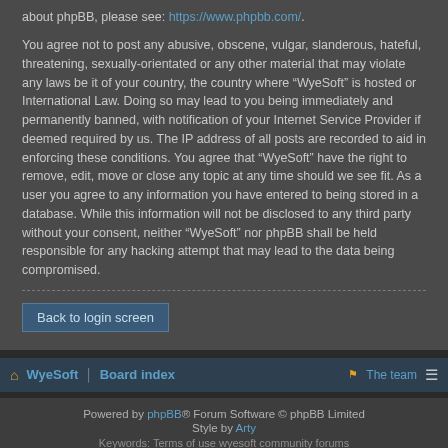about phpBB, please see: https://www.phpbb.com/.
You agree not to post any abusive, obscene, vulgar, slanderous, hateful, threatening, sexually-orientated or any other material that may violate any laws be it of your country, the country where “WyeSoft” is hosted or International Law. Doing so may lead to you being immediately and permanently banned, with notification of your Internet Service Provider if deemed required by us. The IP address of all posts are recorded to aid in enforcing these conditions. You agree that “WyeSoft” have the right to remove, edit, move or close any topic at any time should we see fit. As a user you agree to any information you have entered to being stored in a database. While this information will not be disclosed to any third party without your consent, neither “WyeSoft” nor phpBB shall be held responsible for any hacking attempt that may lead to the data being compromised.
Back to login screen
WyeSoft | Board index | The team
Powered by phpBB® Forum Software © phpBB Limited
Style by Arty
Keywords: Terms of use wyesoft community forums